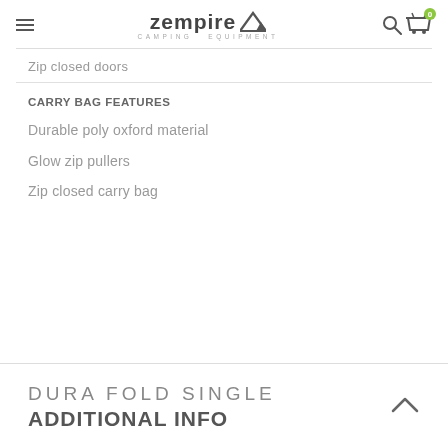Zempire Camping Equipment
Zip closed doors
CARRY BAG FEATURES
Durable poly oxford material
Glow zip pullers
Zip closed carry bag
DURA FOLD SINGLE ADDITIONAL INFO